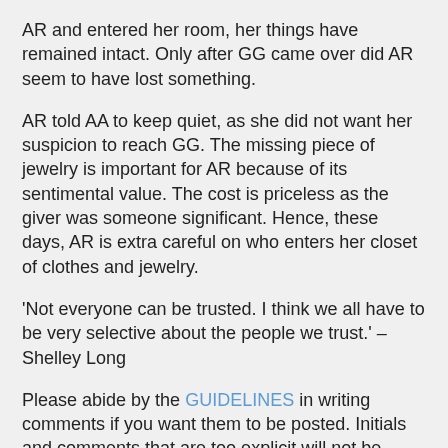AR and entered her room, her things have remained intact. Only after GG came over did AR seem to have lost something.
AR told AA to keep quiet, as she did not want her suspicion to reach GG. The missing piece of jewelry is important for AR because of its sentimental value. The cost is priceless as the giver was someone significant. Hence, these days, AR is extra careful on who enters her closet of clothes and jewelry.
‘Not everyone can be trusted. I think we all have to be very selective about the people we trust.’ –  Shelley Long
Please abide by the GUIDELINES in writing comments if you want them to be posted. Initials and comments that are too explicit will not be accepted.
Follow @FashionPulis on Twitter for the latest update. Please continue to send your juicy stories to michaelsylim@fashionpulis.com. Thank you very much for loving Fashion PULIS!